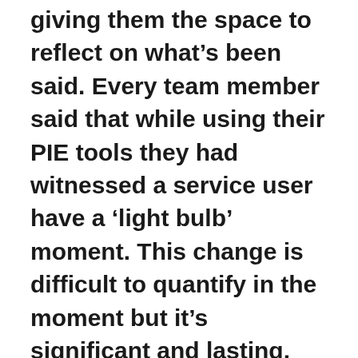giving them the space to reflect on what's been said. Every team member said that while using their PIE tools they had witnessed a service user have a 'light bulb' moment. This change is difficult to quantify in the moment but it's significant and lasting.
“The resilience of the team has grown too. Understanding more of their own behaviour patterns has helped them recognise and evolve their coping mechanisms. This has the added benefit of service users being given the space to